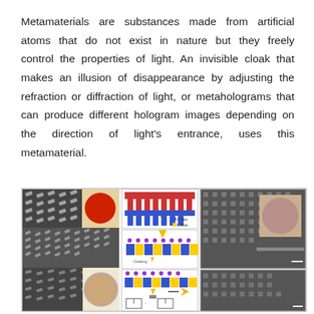Metamaterials are substances made from artificial atoms that do not exist in nature but they freely control the properties of light. An invisible cloak that makes an illusion of disappearance by adjusting the refraction or diffraction of light, or metaholograms that can produce different hologram images depending on the direction of light's entrance, uses this metamaterial.
[Figure (photo): Composite scientific figure showing scanning electron microscope (SEM) images of metamaterial nanostructures (left panels), schematic diagrams of metahologram device operation with layered structures and arrows indicating light paths (center), and additional SEM images with inset circular photographs of fabricated samples (right panels). Bottom row shows further device schematics and operation diagrams.]